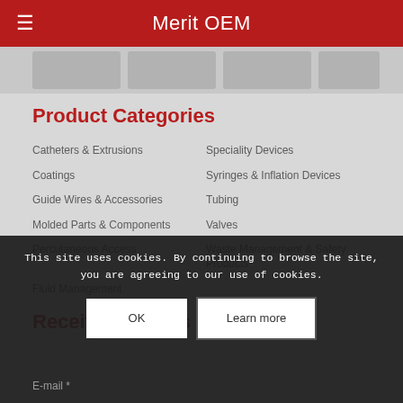Merit OEM
[Figure (photo): Banner with partially visible gray product images/cards]
Product Categories
Catheters & Extrusions
Speciality Devices
Coatings
Syringes & Inflation Devices
Guide Wires & Accessories
Tubing
Molded Parts & Components
Valves
Percutaneous Access
Waste Management & Safety Products
Fluid Management
Receive Updates
This site uses cookies. By continuing to browse the site, you are agreeing to our use of cookies.